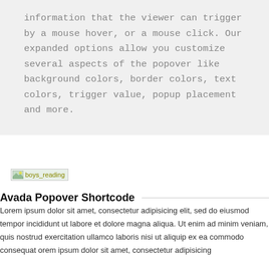information that the viewer can trigger by a mouse hover, or a mouse click. Our expanded options allow you customize several aspects of the popover like background colors, border colors, text colors, trigger value, popup placement and more.
[Figure (illustration): Broken image placeholder labeled 'boys_reading']
Avada Popover Shortcode
Lorem ipsum dolor sit amet, consectetur adipisicing elit, sed do eiusmod tempor incididunt ut labore et dolore magna aliqua. Ut enim ad minim veniam, quis nostrud exercitation ullamco laboris nisi ut aliquip ex ea commodo consequat orem ipsum dolor sit amet, consectetur adipisicing